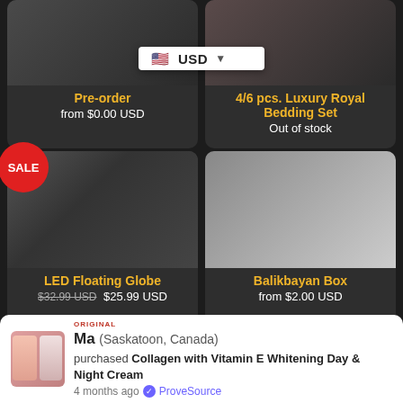Pre-order
from $0.00 USD
USD
4/6 pcs. Luxury Royal Bedding Set
Out of stock
SALE
LED Floating Globe
$32.99 USD $25.99 USD
Balikbayan Box
from $2.00 USD
ORIGINAL
Ma (Saskatoon, Canada)
purchased Collagen with Vitamin E Whitening Day & Night Cream
4 months ago  ProveSource